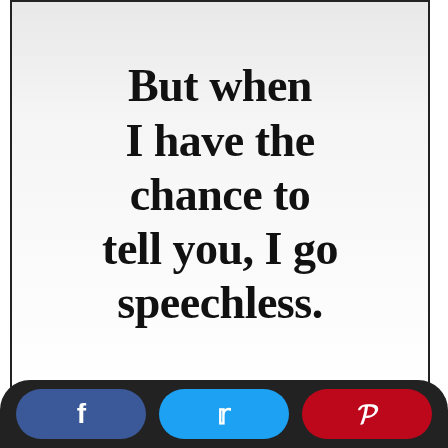[Figure (illustration): A quote card with bold serif text on a light gray-to-white gradient background with a dark border, showing partial text: 'But when I have the chance to tell you, I go speechless.']
Simple Love Quotes For Your Sweet Love The Xerxes Simple Love Quotes Motivational Quotes For Love Girlfriend Quotes
[Figure (infographic): Social sharing bar with Facebook (blue), Twitter (cyan), and Pinterest (red) buttons showing their respective icons.]